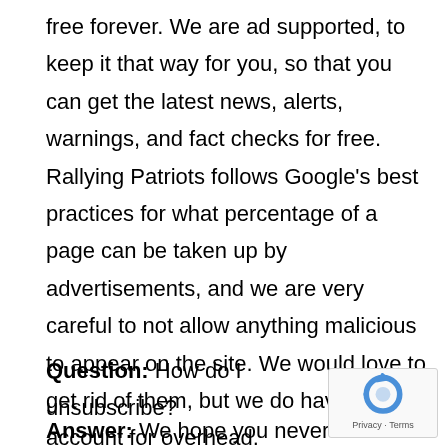free forever. We are ad supported, to keep it that way for you, so that you can get the latest news, alerts, warnings, and fact checks for free. Rallying Patriots follows Google's best practices for what percentage of a page can be taken up by advertisements, and we are very careful to not allow anything malicious to appear on the site. We would love to get rid of them, but we do have to account for overhead.
Question: How do I unsubscribe?
Answer: We hope you never want to